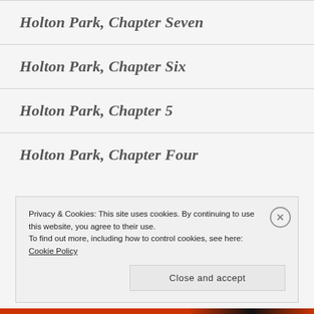Holton Park, Chapter Seven
Holton Park, Chapter Six
Holton Park, Chapter 5
Holton Park, Chapter Four
Privacy & Cookies: This site uses cookies. By continuing to use this website, you agree to their use. To find out more, including how to control cookies, see here: Cookie Policy
Close and accept